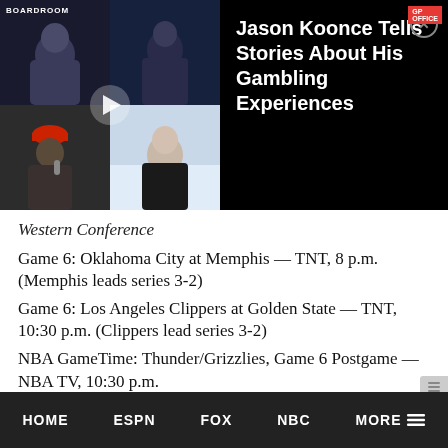[Figure (screenshot): Video thumbnail showing four people in a grid layout with a play button overlay, alongside a black panel with video title text. Labels include BOARDROOM and GP OFFICE branding.]
Jason Koonce Tells Stories About His Gambling Experiences
Western Conference
Game 6: Oklahoma City at Memphis — TNT, 8 p.m. (Memphis leads series 3-2)
Game 6: Los Angeles Clippers at Golden State — TNT, 10:30 p.m. (Clippers lead series 3-2)
NBA GameTime: Thunder/Grizzlies, Game 6 Postgame — NBA TV, 10:30 p.m.
NBA GameTime: Clippers/Warriors, Game 6
HOME   ESPN   FOX   NBC   MORE